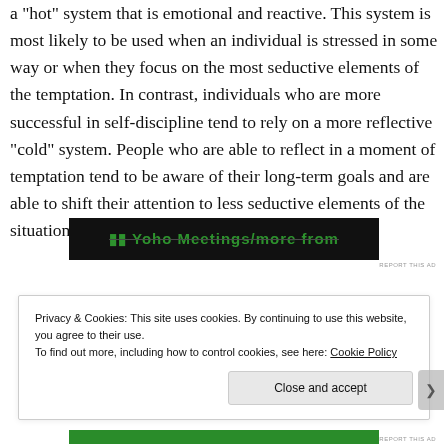a "hot" system that is emotional and reactive. This system is most likely to be used when an individual is stressed in some way or when they focus on the most seductive elements of the temptation. In contrast, individuals who are more successful in self-discipline tend to rely on a more reflective "cold" system. People who are able to reflect in a moment of temptation tend to be aware of their long-term goals and are able to shift their attention to less seductive elements of the situation.
[Figure (other): Advertisement banner with dark background and green text, partially obscured]
REPORT THIS AD
Privacy & Cookies: This site uses cookies. By continuing to use this website, you agree to their use.
To find out more, including how to control cookies, see here: Cookie Policy
Close and accept